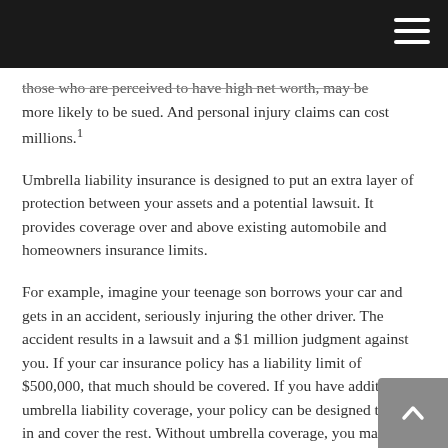[navigation bar with hamburger menu]
those who are perceived to have high net worth, may be more likely to be sued. And personal injury claims can cost millions.¹
Umbrella liability insurance is designed to put an extra layer of protection between your assets and a potential lawsuit. It provides coverage over and above existing automobile and homeowners insurance limits.
For example, imagine your teenage son borrows your car and gets in an accident, seriously injuring the other driver. The accident results in a lawsuit and a $1 million judgment against you. If your car insurance policy has a liability limit of $500,000, that much should be covered. If you have additional umbrella liability coverage, your policy can be designed to kick in and cover the rest. Without umbrella coverage, you may be responsible for paying out of pocket for the other $500,000, which could mean liquidating assets